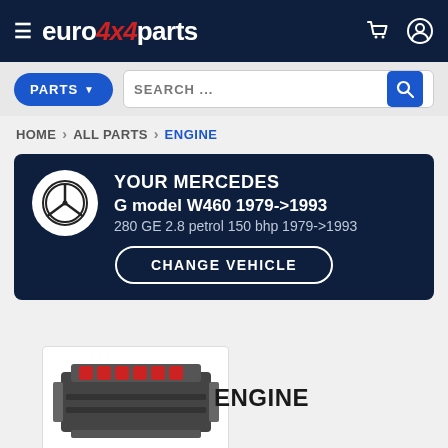euro4x4parts — navigation bar with hamburger menu, logo, cart and user icons
PARTS  SEARCH ...
HOME > ALL PARTS > ENGINE
YOUR MERCEDES
G model W460 1979->1993
280 GE 2.8 petrol 150 bhp 1979->1993
CHANGE VEHICLE
[Figure (photo): Engine photo showing a bare engine block with red valve covers]
ENGINE